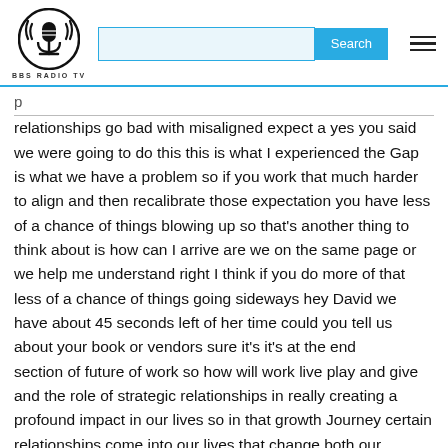[Figure (logo): BBS Radio TV circular logo with microphone icon]
relationships go bad with misaligned expect a yes you said we were going to do this this is what I experienced the Gap is what we have a problem so if you work that much harder to align and then recalibrate those expectation you have less of a chance of things blowing up so that's another thing to think about is how can I arrive are we on the same page or we help me understand right I think if you do more of that less of a chance of things going sideways hey David we have about 45 seconds left of her time could you tell us about your book or vendors sure it's it's at the end section of future of work so how will work live play and give and the role of strategic relationships in really creating a profound impact in our lives so in that growth Journey certain relationships come into our lives that change both our Direction and destination and I called those relationships curve Benders that's wonderful hey if somebody wants to reach out to you for your coaching Services how do they